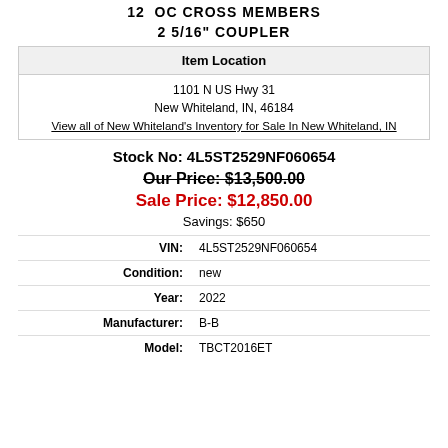12  OC CROSS MEMBERS
2 5/16" COUPLER
| Item Location |
| --- |
| 1101 N US Hwy 31
New Whiteland, IN, 46184
View all of New Whiteland's Inventory for Sale In New Whiteland, IN |
Stock No: 4L5ST2529NF060654
Our Price: $13,500.00
Sale Price: $12,850.00
Savings: $650
| Field | Value |
| --- | --- |
| VIN: | 4L5ST2529NF060654 |
| Condition: | new |
| Year: | 2022 |
| Manufacturer: | B-B |
| Model: | TBCT2016ET |